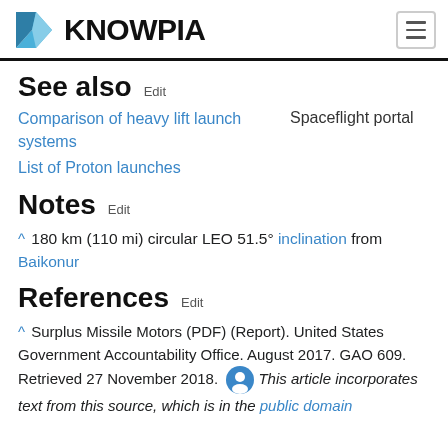KNOWPIA
See also Edit
Comparison of heavy lift launch systems
List of Proton launches
Spaceflight portal
Notes Edit
^ 180 km (110 mi) circular LEO 51.5° inclination from Baikonur
References Edit
^ Surplus Missile Motors (PDF) (Report). United States Government Accountability Office. August 2017. GAO 609. Retrieved 27 November 2018. This article incorporates text from this source, which is in the public domain